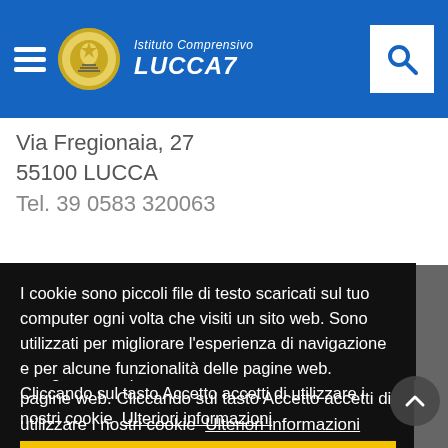Istituto Comprensivo LUCCA7
Via Fregionaia, 27
55100 LUCCA
Tel. 39 0583 320063
I cookie sono piccoli file di testo scaricati sul tuo computer ogni volta che visiti un sito web. Sono utilizzati per migliorare l'esperienza di navigazione e per alcune funzionalità delle pagine web. Cliccando sul tasto Accetto accetti di utilizzare i nostri cookie  Ulteriori informazioni
Accetto!
Giovedì 7.30-8.30